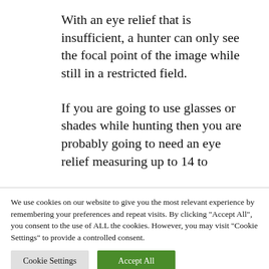With an eye relief that is insufficient, a hunter can only see the focal point of the image while still in a restricted field.
If you are going to use glasses or shades while hunting then you are probably going to need an eye relief measuring up to 14 to
We use cookies on our website to give you the most relevant experience by remembering your preferences and repeat visits. By clicking "Accept All", you consent to the use of ALL the cookies. However, you may visit "Cookie Settings" to provide a controlled consent.